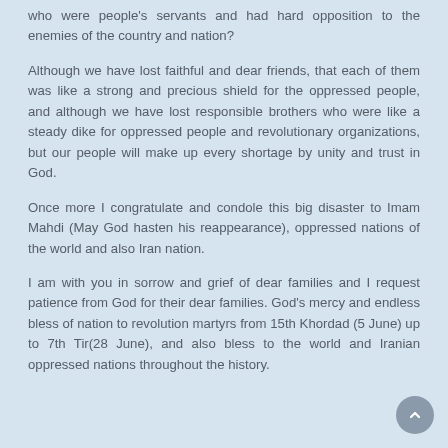who were people's servants and had hard opposition to the enemies of the country and nation?
Although we have lost faithful and dear friends, that each of them was like a strong and precious shield for the oppressed people, and although we have lost responsible brothers who were like a steady dike for oppressed people and revolutionary organizations, but our people will make up every shortage by unity and trust in God.
Once more I congratulate and condole this big disaster to Imam Mahdi (May God hasten his reappearance), oppressed nations of the world and also Iran nation.
I am with you in sorrow and grief of dear families and I request patience from God for their dear families. God's mercy and endless bless of nation to revolution martyrs from 15th Khordad (5 June) up to 7th Tir(28 June), and also bless to the world and Iranian oppressed nations throughout the history.